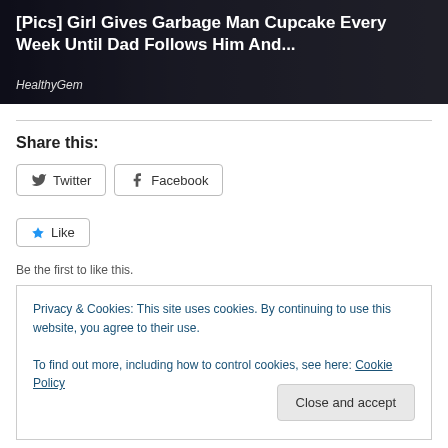[Figure (photo): Banner image showing people in background with dark overlay. Title text overlaid: '[Pics] Girl Gives Garbage Man Cupcake Every Week Until Dad Follows Him And...' with source 'HealthyGem' below.]
Share this:
Twitter  Facebook
Like
Be the first to like this.
Privacy & Cookies: This site uses cookies. By continuing to use this website, you agree to their use.
To find out more, including how to control cookies, see here: Cookie Policy
Close and accept